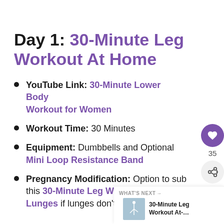Day 1: 30-Minute Leg Workout At Home
YouTube Link: 30-Minute Lower Body Workout for Women
Workout Time: 30 Minutes
Equipment: Dumbbells and Optional Mini Loop Resistance Band
Pregnancy Modification: Option to sub this 30-Minute Leg Workout, Lunges if lunges don't feel good for you.